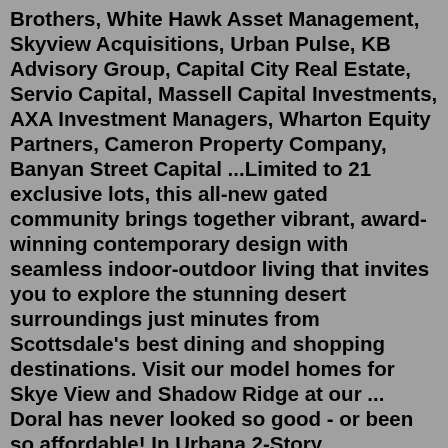Brothers, White Hawk Asset Management, Skyview Acquisitions, Urban Pulse, KB Advisory Group, Capital City Real Estate, Servio Capital, Massell Capital Investments, AXA Investment Managers, Wharton Equity Partners, Cameron Property Company, Banyan Street Capital ...Limited to 21 exclusive lots, this all-new gated community brings together vibrant, award-winning contemporary design with seamless indoor-outdoor living that invites you to explore the stunning desert surroundings just minutes from Scottsdale's best dining and shopping destinations. Visit our model homes for Skye View and Shadow Ridge at our ... Doral has never looked so good - or been so affordable! In Urbana 2-Story Townhomes, Lennar introduces the MODEL CE SKYVIEW, a spacious Townhome home. You and your family will have plenty of space with 3 bedrooms, 2.5 bathrooms and 2116 square feet of living space. One look at this Townhome will persuade you. .Skyview Golf Club 226 Lafayette Road Sparta, NJ 07871 973-726-4653...